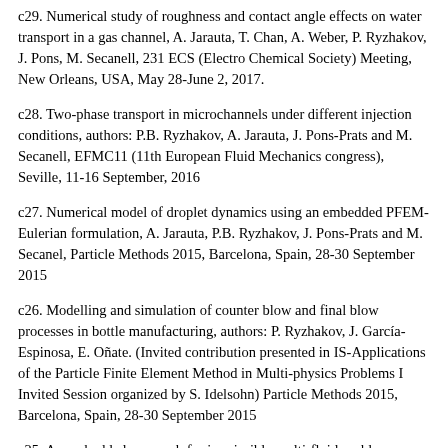c29. Numerical study of roughness and contact angle effects on water transport in a gas channel, A. Jarauta, T. Chan, A. Weber, P. Ryzhakov, J. Pons, M. Secanell, 231 ECS (Electro Chemical Society) Meeting, New Orleans, USA, May 28-June 2, 2017.
c28. Two-phase transport in microchannels under different injection conditions, authors: P.B. Ryzhakov, A. Jarauta, J. Pons-Prats and M. Secanell, EFMC11 (11th European Fluid Mechanics congress), Seville, 11-16 September, 2016
c27. Numerical model of droplet dynamics using an embedded PFEM-Eulerian formulation, A. Jarauta, P.B. Ryzhakov, J. Pons-Prats and M. Secanel, Particle Methods 2015, Barcelona, Spain, 28-30 September 2015
c26. Modelling and simulation of counter blow and final blow processes in bottle manufacturing, authors: P. Ryzhakov, J. García-Espinosa, E. Oñate. (Invited contribution presented in IS-Applications of the Particle Finite Element Method in Multi-physics Problems I Invited Session organized by S. Idelsohn) Particle Methods 2015, Barcelona, Spain, 28-30 September 2015
c25. An embedded approach for immiscible multi-fluid problems, authors: P. Ryzhakov and A. Jarauta, WCM2015, San Servolo, Mexico, July 15-16 May 2015...